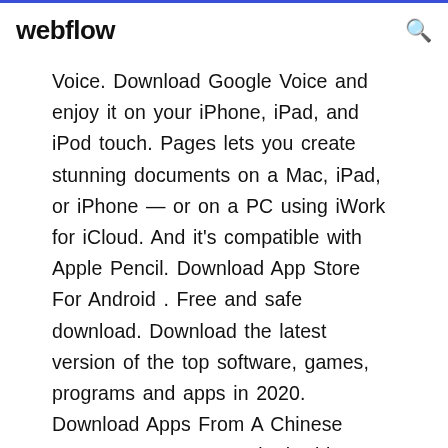webflow
Voice. Download Google Voice and enjoy it on your iPhone, iPad, and iPod touch. Pages lets you create stunning documents on a Mac, iPad, or iPhone — or on a PC using iWork for iCloud. And it's compatible with Apple Pencil. Download App Store For Android . Free and safe download. Download the latest version of the top software, games, programs and apps in 2020. Download Apps From A Chinese Store For Free GetJar is the biggest open appstore in the world, currently listing 974595+ apps with more than 3M downloads per day. AC Market App net.appcake Download AC Market ApK Update 4.7.6 Fix VIP users AD bugs Improved UI Fixed user got logged out error Fix auto install Fixed